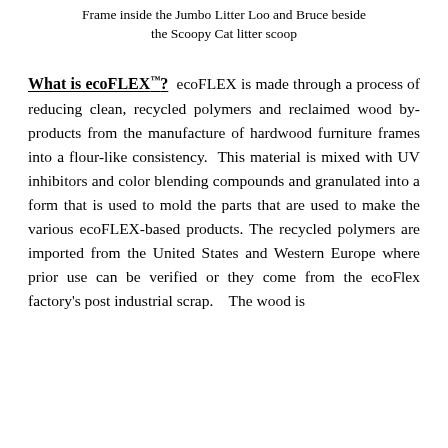Frame inside the Jumbo Litter Loo and Bruce beside the Scoopy Cat litter scoop
What is ecoFLEX™? ecoFLEX is made through a process of reducing clean, recycled polymers and reclaimed wood by-products from the manufacture of hardwood furniture frames into a flour-like consistency. This material is mixed with UV inhibitors and color blending compounds and granulated into a form that is used to mold the parts that are used to make the various ecoFLEX-based products. The recycled polymers are imported from the United States and Western Europe where prior use can be verified or they come from the ecoFlex factory's post industrial scrap. The wood is